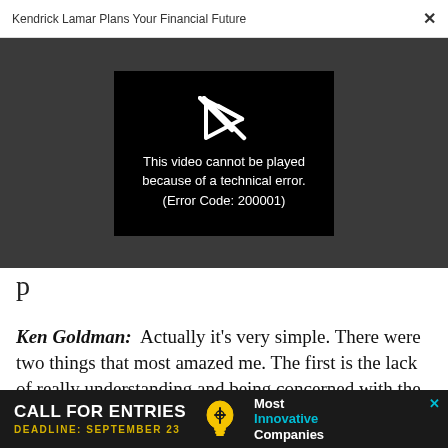Kendrick Lamar Plans Your Financial Future  ×
[Figure (screenshot): Video player showing error: a broken play button icon with text 'This video cannot be played because of a technical error. (Error Code: 200001)' on a black background, set within a dark gray overlay area.]
p
Ken Goldman:  Actually it's very simple. There were two things that most amazed me. The first is the lack of really understanding and being concerned with the balance sheet. While I'm not an accountant, one
[Figure (screenshot): Advertisement banner: dark background with 'CALL FOR ENTRIES' in large white bold text, 'DEADLINE: SEPTEMBER 23' in yellow bold text, a lightbulb icon, and 'Most Innovative Companies' in white and cyan text. An X close button is in the top right.]